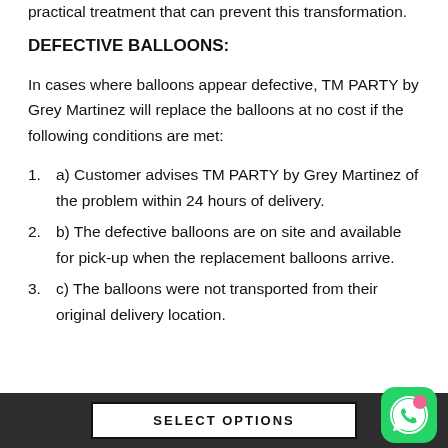practical treatment that can prevent this transformation.
DEFECTIVE BALLOONS:
In cases where balloons appear defective, TM PARTY by Grey Martinez will replace the balloons at no cost if the following conditions are met:
a) Customer advises TM PARTY by Grey Martinez of the problem within 24 hours of delivery.
b) The defective balloons are on site and available for pick-up when the replacement balloons arrive.
c) The balloons were not transported from their original delivery location.
SELECT OPTIONS